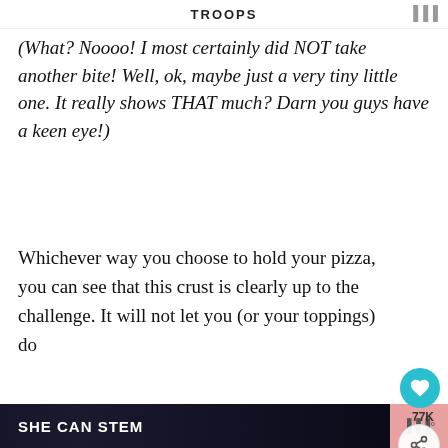TROOPS
(What? Noooo! I most certainly did NOT take another bite! Well, ok, maybe just a very tiny little one. It really shows THAT much? Darn you guys have a keen eye!)
Whichever way you choose to hold your pizza, you can see that this crust is clearly up to the challenge. It will not let you (or your toppings) do...
[Figure (photo): Food photo showing a bowl of greens/herbs and a bowl of reddish-brown food items on a dark surface]
WHAT'S NEXT → Cauliflower Crust Pizza...
SHE CAN STEM